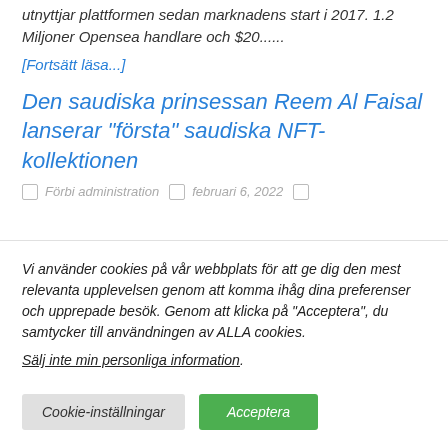utnyttjar plattformen sedan marknadens start i 2017. 1.2 Miljoner Opensea handlare och $20......
[Fortsätt läsa...]
Den saudiska prinsessan Reem Al Faisal lanserar "första" saudiska NFT-kollektionen
Förbi administration   februari 6, 2022
Vi använder cookies på vår webbplats för att ge dig den mest relevanta upplevelsen genom att komma ihåg dina preferenser och upprepade besök. Genom att klicka på "Acceptera", du samtycker till användningen av ALLA cookies.
Sälj inte min personliga information.